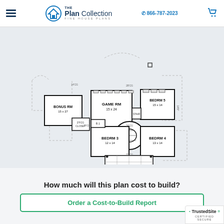The Plan Collection | FINE HOUSE PLANS | 866-787-2023
[Figure (engineering-diagram): Second floor architectural house plan showing rooms: BONUS RM 15x27, GAME RM 15x24, BEDRM 5 15x14, BEDRM 3 12x14, BEDRM 4 13x14, and additional spaces including bathrooms and hallways with a circular staircase in the center.]
How much will this plan cost to build?
Order a Cost-to-Build Report
TrustedSite CERTIFIED SECURE